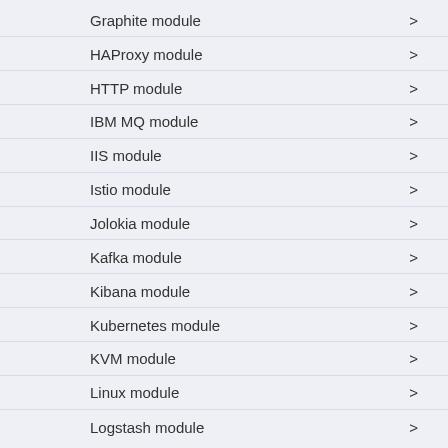Graphite module
HAProxy module
HTTP module
IBM MQ module
IIS module
Istio module
Jolokia module
Kafka module
Kibana module
Kubernetes module
KVM module
Linux module
Logstash module